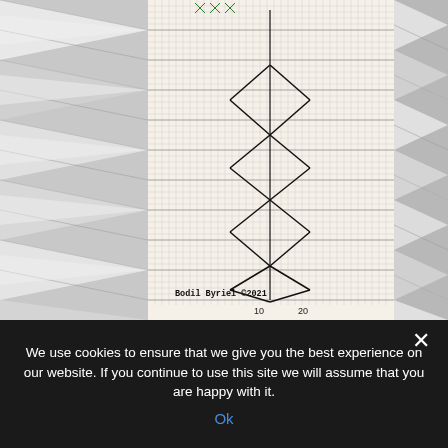[Figure (photo): A photograph showing an origami/paper folding diagram on graph paper (center), flanked by white paper accordion/pleated folded sculptures on the left and right. The diagram on grid paper shows a zigzag diamond/bowtie pattern with row numbers 20, 30, 40, 50, 60 on the right side and column numbers 10, 20 at the bottom. Red text 'NOV' and green markings visible at top. Copyright text 'Bodil Byriel ©2021' printed at bottom of diagram.]
We use cookies to ensure that we give you the best experience on our website. If you continue to use this site we will assume that you are happy with it.
Ok